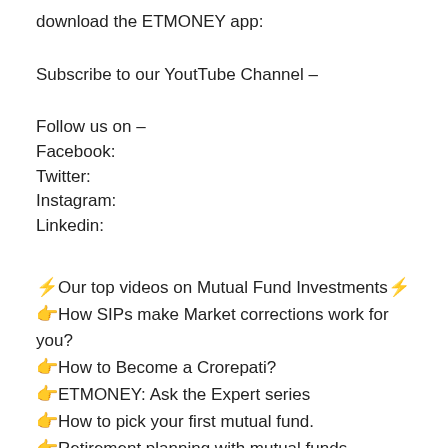download the ETMONEY app:
Subscribe to our YoutTube Channel –
Follow us on –
Facebook:
Twitter:
Instagram:
Linkedin:
⚡Our top videos on Mutual Fund Investments⚡
👉How SIPs make Market corrections work for you?
👉How to Become a Crorepati?
👉ETMONEY: Ask the Expert series
👉How to pick your first mutual fund.
👉Retirement planning with mutual funds
👉Mutual Fund Investment for beginners .